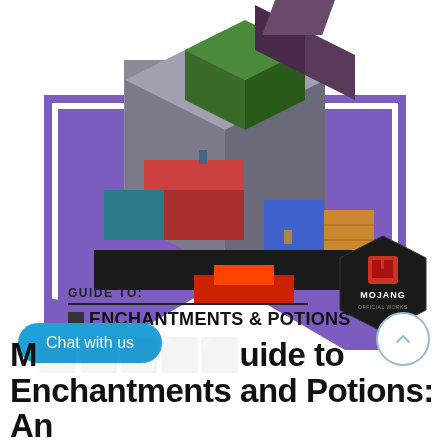[Figure (illustration): Book cover for 'Minecraft Guide to Enchantments & Potions' by Mojang. Purple background with a white chevron/diamond shape at the bottom. An isometric pixel-art Minecraft scene shows various colored blocks, structures, and characters. A Mojang Official Works hexagonal badge appears in the lower right. Text reads 'GUIDE TO:' above a dividing line, then 'ENCHANTMENTS & POTIONS' in bold black.]
Chat with us
Minecraft Guide to Enchantments and Potions: An